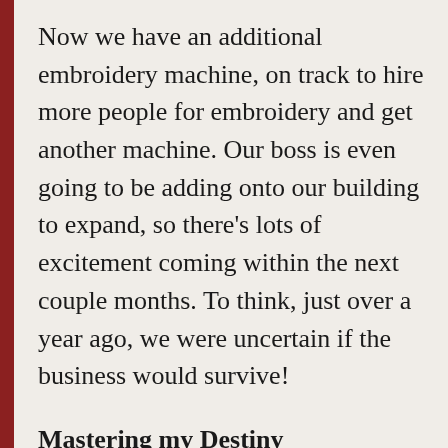Now we have an additional embroidery machine, on track to hire more people for embroidery and get another machine. Our boss is even going to be adding onto our building to expand, so there’s lots of excitement coming within the next couple months. To think, just over a year ago, we were uncertain if the business would survive!
Mastering my Destiny
We ended up moving out of our small apartment that was a 5-minute walk to work, to now having a house with a 40-minute commute. This got a bit frustrating